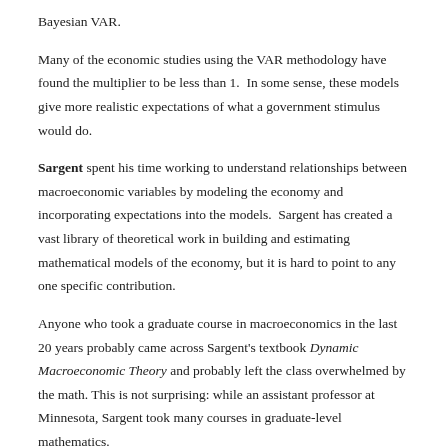Bayesian VAR.
Many of the economic studies using the VAR methodology have found the multiplier to be less than 1. In some sense, these models give more realistic expectations of what a government stimulus would do.
Sargent spent his time working to understand relationships between macroeconomic variables by modeling the economy and incorporating expectations into the models. Sargent has created a vast library of theoretical work in building and estimating mathematical models of the economy, but it is hard to point to any one specific contribution.
Anyone who took a graduate course in macroeconomics in the last 20 years probably came across Sargent's textbook Dynamic Macroeconomic Theory and probably left the class overwhelmed by the math. This is not surprising: while an assistant professor at Minnesota, Sargent took many courses in graduate-level mathematics.